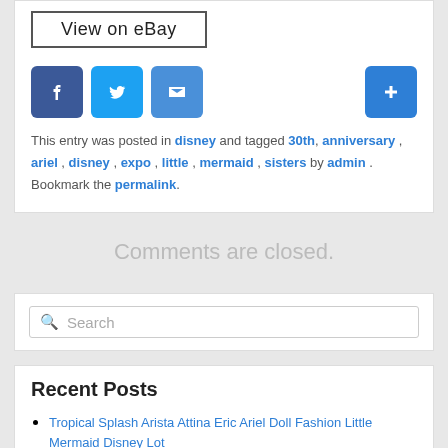[Figure (screenshot): View on eBay button with border]
[Figure (infographic): Social sharing icons: Facebook (blue), Twitter (light blue), Email (blue), and a blue plus button]
This entry was posted in disney and tagged 30th, anniversary, ariel, disney, expo, little, mermaid, sisters by admin. Bookmark the permalink.
Comments are closed.
[Figure (screenshot): Search bar with magnifying glass icon and placeholder text 'Search']
Recent Posts
Tropical Splash Arista Attina Eric Ariel Doll Fashion Little Mermaid Disney Lot
Disney Wonders Within Ariel Little Mermaid Snowglobe Deep Sea Dreamer Hallmark